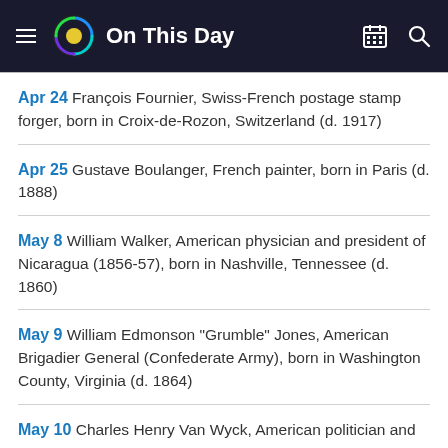On This Day
Apr 24 François Fournier, Swiss-French postage stamp forger, born in Croix-de-Rozon, Switzerland (d. 1917)
Apr 25 Gustave Boulanger, French painter, born in Paris (d. 1888)
May 8 William Walker, American physician and president of Nicaragua (1856-57), born in Nashville, Tennessee (d. 1860)
May 9 William Edmonson "Grumble" Jones, American Brigadier General (Confederate Army), born in Washington County, Virginia (d. 1864)
May 10 Charles Henry Van Wyck, American politician and